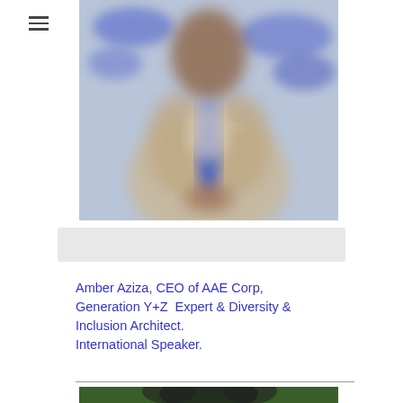Login/Sign up
[Figure (photo): Blurred photo of a man in a beige suit with a blue tie, sitting with hands clasped, against a blurred blue background]
[Figure (other): Gray horizontal bar/banner area]
Amber Aziza, CEO of AAE Corp, Generation Y+Z  Expert & Diversity & Inclusion Architect. International Speaker.
[Figure (photo): Partial photo of a person, showing top of dark hair against a green background]